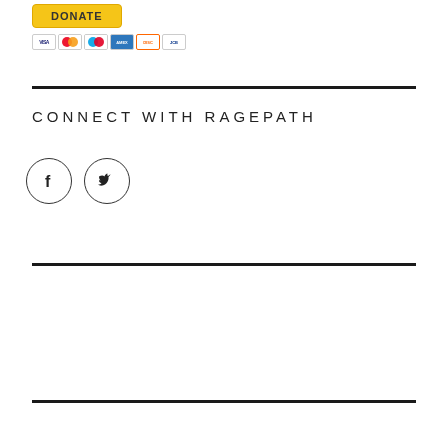[Figure (other): PayPal Donate button with payment card icons (Visa, Mastercard, Maestro, Amex, Discover, JCB)]
CONNECT WITH RAGEPATH
[Figure (other): Social media icons: Facebook and Twitter in circular borders]
My Tweets